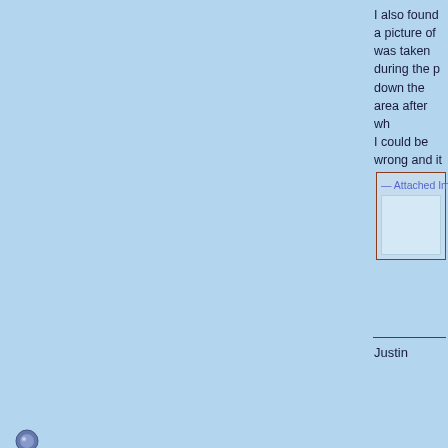[Figure (screenshot): Forum post partial view - first post with light blue background. Right content column shows partial text starting with 'I also found a picture of...' and an 'Attached Images' box with a dark red border. Below is a horizontal line and signature 'Justin'. Left column shows avatar area with a small circular icon at bottom.]
04-09-2022, 10:28 AM
PC7060
...unrepentant, detail focused, over-analyzer.
Join Date: Jan 2013
Location: Virginia
Posts: 2,997
Hmmm, can't say I'm a... drain. Personally I'd rem... of the Kerdi centered or... DitraHeat away from th... clear area around the fl... Next I'd put a 24" kerdi... sure to overlap the first... sides. Shouldn't be a pr... I'd also use kerdi fix or... drain flange given it's th...

Just my 2 cents and wo...

PC